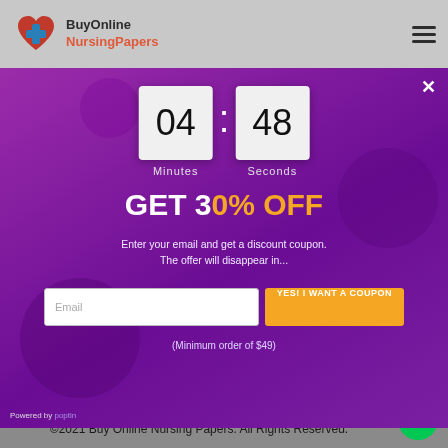[Figure (screenshot): BuyOnline NursingPapers logo with heart and plus cross icon]
[Figure (infographic): Countdown timer popup showing 04 minutes : 48 seconds with purple background, GET 30% OFF promotion, email input field and YES! I WANT A COUPON button]
Minutes
Seconds
GET 30% OFF
Enter your email and get a discount coupon. The offer will disappear in...
Email
YES! I WANT A COUPON
(Minimum order of $49)
Powered by poptin
©2021 Buy Online Nursing Papers. All Rights Reserved.